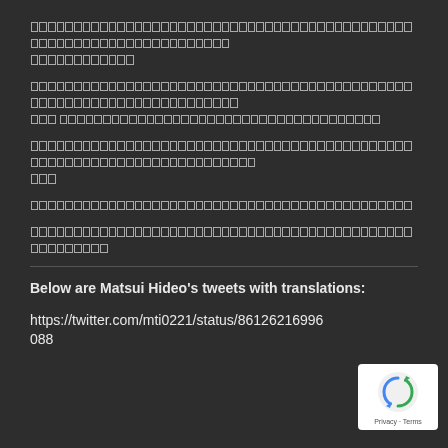[Japanese text - paragraph 1]
[Japanese text - paragraph 2 with bold section]
[Japanese text - paragraph 3]
[Japanese text - paragraph 4]
[Japanese text - paragraph 5]
Below are Matsui Hideo's tweets with translations:
https://twitter.com/mti0221/status/861262169960...088